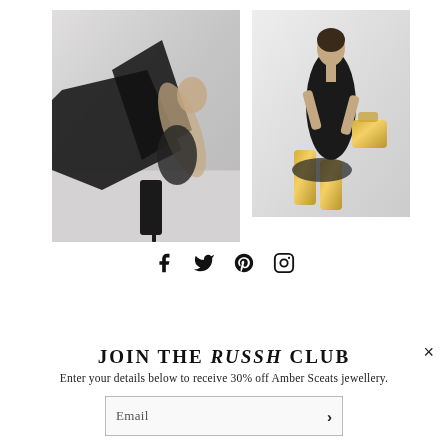[Figure (photo): Two fashion editorial photos side by side: left photo shows a model in a black dress with black high-heel boots against a white background; right photo shows a model in a black halter dress with gold knee-high boots and a gold handbag.]
[Figure (infographic): Social media icons row: Facebook, Twitter, Pinterest, Instagram]
JOIN THE RUSSH CLUB
Enter your details below to receive 30% off Amber Sceats jewellery.
Email